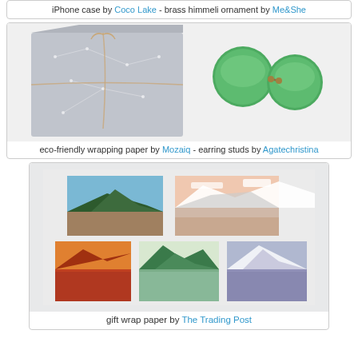iPhone case by Coco Lake - brass himmeli ornament by Me&She
[Figure (photo): Photo showing eco-friendly wrapping paper (star/constellation pattern grey box with twine) alongside green round earring studs]
eco-friendly wrapping paper by Mozaiq - earring studs by Agatechristina
[Figure (photo): Photo showing six gift wrap paper blocks/soaps with landscape paintings - mountains, forests, snow scenes]
gift wrap paper by The Trading Post